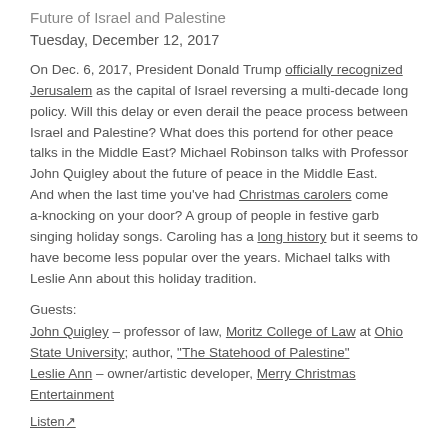Future of Israel and Palestine
Tuesday, December 12, 2017
On Dec. 6, 2017, President Donald Trump officially recognized Jerusalem as the capital of Israel reversing a multi-decade long policy. Will this delay or even derail the peace process between Israel and Palestine? What does this portend for other peace talks in the Middle East? Michael Robinson talks with Professor John Quigley about the future of peace in the Middle East.
And when the last time you've had Christmas carolers come a-knocking on your door? A group of people in festive garb singing holiday songs. Caroling has a long history but it seems to have become less popular over the years. Michael talks with Leslie Ann about this holiday tradition.
Guests:
John Quigley – professor of law, Moritz College of Law at Ohio State University; author, "The Statehood of Palestine"
Leslie Ann – owner/artistic developer, Merry Christmas Entertainment